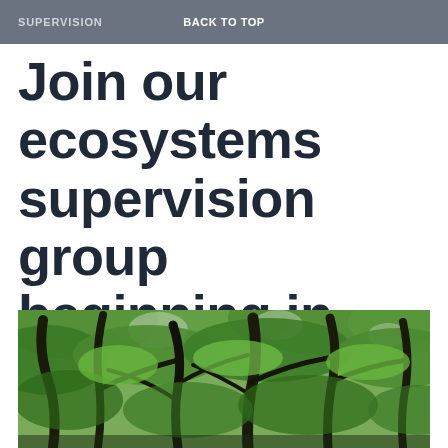SUPERVISION   BACK TO TOP
Join our ecosystems supervision group beginning in January
[Figure (photo): Looking up through dense green forest canopy with large tree trunks and lush green leaves against a bright sky]